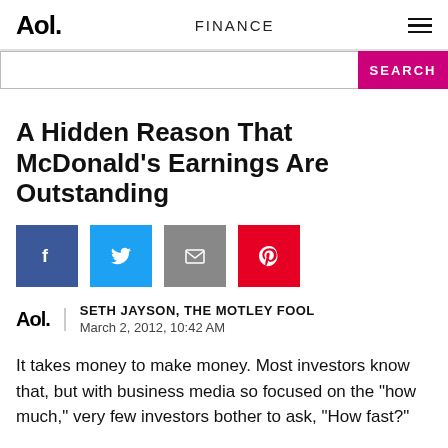Aol. | FINANCE | ≡
A Hidden Reason That McDonald's Earnings Are Outstanding
SETH JAYSON, THE MOTLEY FOOL
March 2, 2012, 10:42 AM
It takes money to make money. Most investors know that, but with business media so focused on the "how much," very few investors bother to ask, "How fast?"